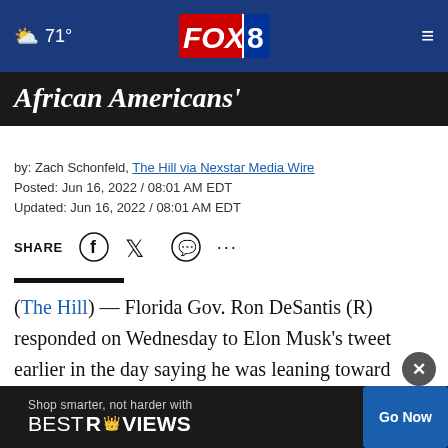71° FOX 8
African Americans'
by: Zach Schonfeld, The Hill via Nexstar Media Wire
Posted: Jun 16, 2022 / 08:01 AM EDT
Updated: Jun 16, 2022 / 08:01 AM EDT
SHARE [social icons]
(The Hill) — Florida Gov. Ron DeSantis (R) responded on Wednesday to Elon Musk's tweet earlier in the day saying he was leaning toward supporting DeSantis for president in 2024.
"I'm focused on 2022," DeSantis, who is rumored to
[Figure (other): BestReviews advertisement banner: 'Shop smarter, not harder with BESTREVIEWS' with Go Now button]